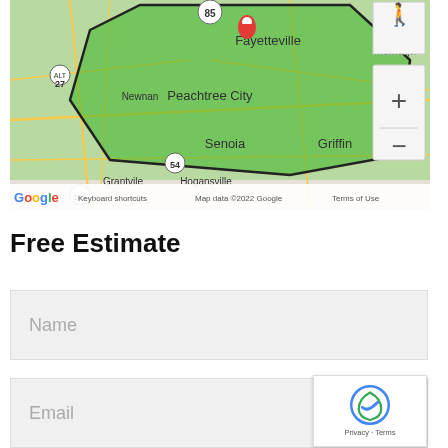[Figure (map): Google Maps screenshot showing a green shaded service area polygon covering Peachtree City, Senoia, Fayetteville area in Georgia. A red location pin is visible near Fayetteville. Map controls (zoom in/out, street view person icon) visible on right. Google logo, Keyboard shortcuts, Map data ©2022 Google, Terms of Use in bottom bar.]
Free Estimate
Name
Email